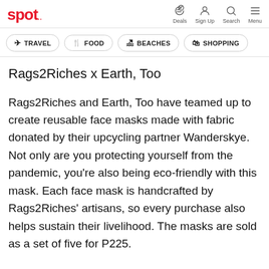spot. | Deals | Sign Up | Search | Menu
TRAVEL | FOOD | BEACHES | SHOPPING
Rags2Riches x Earth, Too
Rags2Riches and Earth, Too have teamed up to create reusable face masks made with fabric donated by their upcycling partner Wanderskye. Not only are you protecting yourself from the pandemic, you’re also being eco-friendly with this mask. Each face mask is handcrafted by Rags2Riches’ artisans, so every purchase also helps sustain their livelihood. The masks are sold as a set of five for P225.